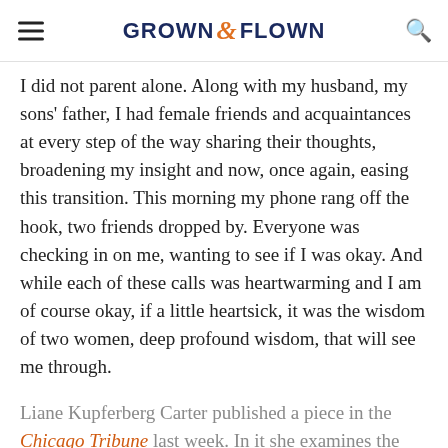GROWN & FLOWN
I did not parent alone. Along with my husband, my sons' father, I had female friends and acquaintances at every step of the way sharing their thoughts, broadening my insight and now, once again, easing this transition. This morning my phone rang off the hook, two friends dropped by. Everyone was checking in on me, wanting to see if I was okay. And while each of these calls was heartwarming and I am of course okay, if a little heartsick, it was the wisdom of two women, deep profound wisdom, that will see me through.
Liane Kupferberg Carter published a piece in the Chicago Tribune last week. In it she examines the notion that her nest may never be empty. Her